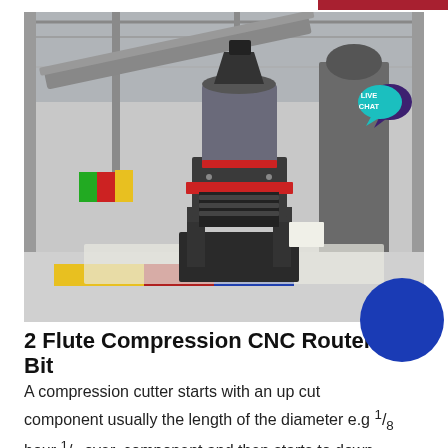[Figure (photo): Industrial factory floor showing a large compression/pelletizing machine in the foreground on a colorful floor (yellow, red, blue), with conveyor systems and other heavy machinery in the background. A 'LIVE CHAT' speech bubble overlay appears in the upper right of the photo. A blue circle graphic overlaps the bottom-right corner.]
2 Flute Compression CNC Router Bit
A compression cutter starts with an up cut component usually the length of the diameter e.g ⅛ hour ¼ over, component and then starts to down